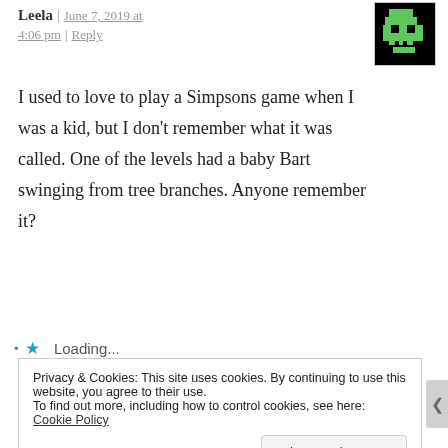Leela | June 7, 2019 at 4:06 pm | Reply
[Figure (illustration): Pixel art avatar of a green alien character on black background]
I used to love to play a Simpsons game when I was a kid, but I don't remember what it was called. One of the levels had a baby Bart swinging from tree branches. Anyone remember it?
Loading...
Privacy & Cookies: This site uses cookies. By continuing to use this website, you agree to their use.
To find out more, including how to control cookies, see here: Cookie Policy
Close and accept